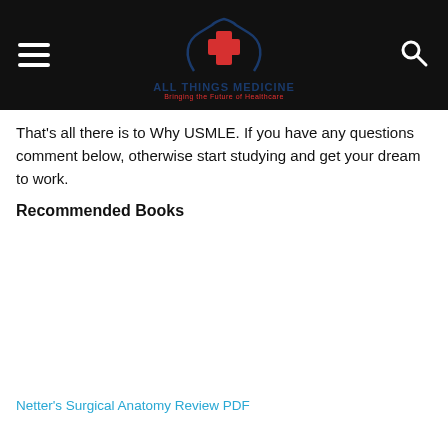ALL THINGS MEDICINE — Bringing the Future of Healthcare
That's all there is to Why USMLE. If you have any questions comment below, otherwise start studying and get your dream to work.
Recommended Books
[Figure (other): Book cover image placeholder (blank)]
Netter's Surgical Anatomy Review PDF